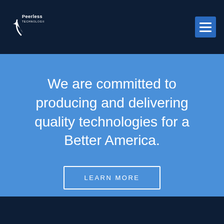Peerless Technologies logo and navigation bar
We are committed to producing and delivering quality technologies for a Better America.
LEARN MORE